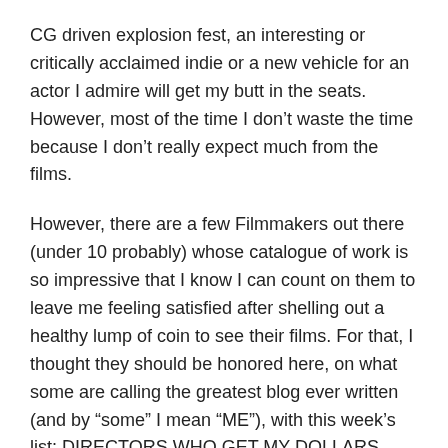CG driven explosion fest, an interesting or critically acclaimed indie or a new vehicle for an actor I admire will get my butt in the seats. However, most of the time I don't waste the time because I don't really expect much from the films.
However, there are a few Filmmakers out there (under 10 probably) whose catalogue of work is so impressive that I know I can count on them to leave me feeling satisfied after shelling out a healthy lump of coin to see their films. For that, I thought they should be honored here, on what some are calling the greatest blog ever written (and by “some” I mean “ME”), with this week’s list: DIRECTORS WHO GET MY DOLLARS.
Here they are (in order): Continue reading →